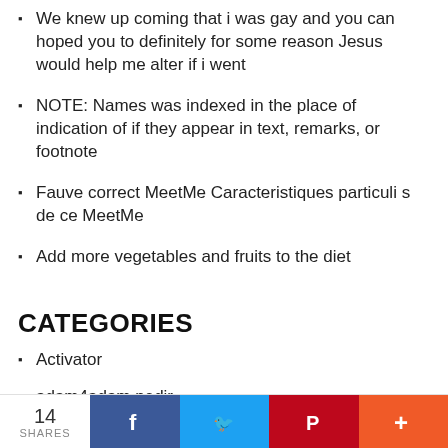We knew up coming that i was gay and you can hoped you to definitely for some reason Jesus would help me alter if i went
NOTE: Names was indexed in the place of indication of if they appear in text, remarks, or footnote
Fauve correct MeetMe Caracteristiques particuli s de ce MeetMe
Add more vegetables and fruits to the diet
CATEGORIES
Activator
adam4adam nedir
Adobe
advance payday loan
advance payday loans
advance title loans
14 SHARES